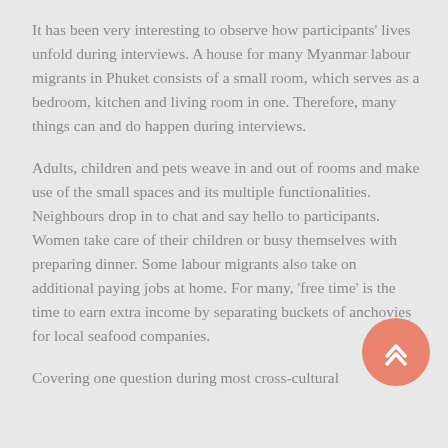It has been very interesting to observe how participants' lives unfold during interviews. A house for many Myanmar labour migrants in Phuket consists of a small room, which serves as a bedroom, kitchen and living room in one. Therefore, many things can and do happen during interviews.
Adults, children and pets weave in and out of rooms and make use of the small spaces and its multiple functionalities. Neighbours drop in to chat and say hello to participants. Women take care of their children or busy themselves with preparing dinner. Some labour migrants also take on additional paying jobs at home. For many, 'free time' is the time to earn extra income by separating buckets of anchovies for local seafood companies.
Covering one question during most cross-cultural